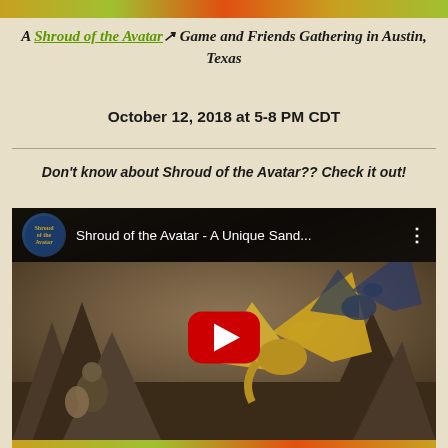A Shroud of the Avatar Game and Friends Gathering in Austin, Texas
October 12, 2018 at 5-8 PM CDT
Don't know about Shroud of the Avatar?? Check it out!
[Figure (screenshot): YouTube video thumbnail for 'Shroud of the Avatar - A Unique Sand...' showing a dragon and warrior scene with a red play button overlay]